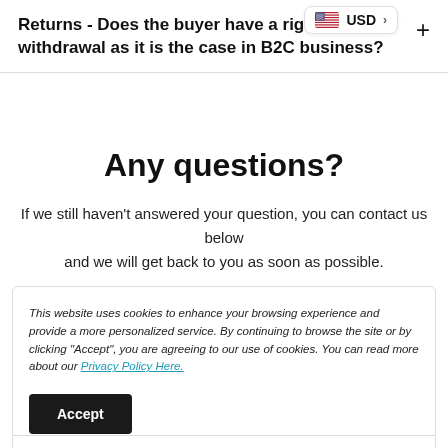[Figure (screenshot): USD currency selector badge with US flag icon in top right corner]
Returns - Does the buyer have a right of withdrawal as it is the case in B2C business?
Any questions?
If we still haven't answered your question, you can contact us below and we will get back to you as soon as possible.
This website uses cookies to enhance your browsing experience and provide a more personalized service. By continuing to browse the site or by clicking "Accept", you are agreeing to our use of cookies. You can read more about our Privacy Policy Here.